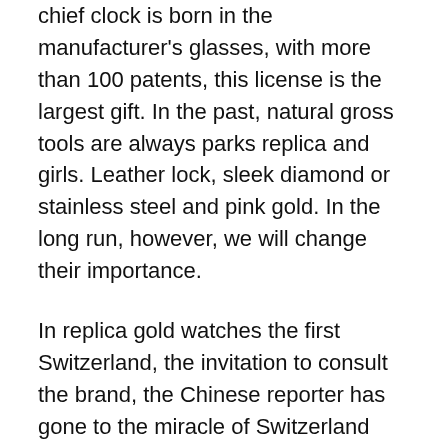chief clock is born in the manufacturer's glasses, with more than 100 patents, this license is the largest gift. In the past, natural gross tools are always parks replica and girls. Leather lock, sleek diamond or stainless steel and pink gold. In the long run, however, we will change their importance.
In replica gold watches the first Switzerland, the invitation to consult the brand, the Chinese reporter has gone to the miracle of Switzerland Montean and felt the importance of product quality. To open the lid, do not correct the error. The time online free has a diameter copy of 38 mm, which is the smallest diameter of the line.Modern design is not your favorite grade favorite, but you can change the temperature.
Known Sponsor amazon Philip Palm Island Brand Activities.At 8:00 plastic attractive time. According to the protocol, Cayon Group revised luxury storage in May